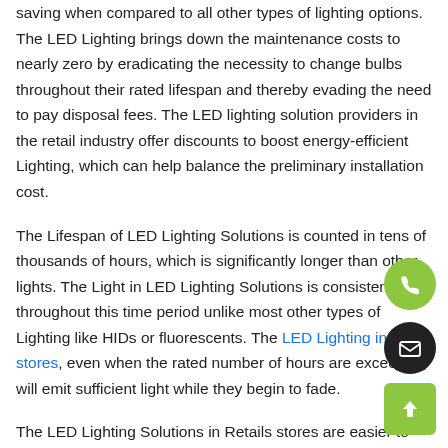saving when compared to all other types of lighting options. The LED Lighting brings down the maintenance costs to nearly zero by eradicating the necessity to change bulbs throughout their rated lifespan and thereby evading the need to pay disposal fees. The LED lighting solution providers in the retail industry offer discounts to boost energy-efficient Lighting, which can help balance the preliminary installation cost.
The Lifespan of LED Lighting Solutions is counted in tens of thousands of hours, which is significantly longer than other lights. The Light in LED Lighting Solutions is consistent throughout this time period unlike most other types of Lighting like HIDs or fluorescents. The LED Lighting in retail stores, even when the rated number of hours are exceeded, will emit sufficient light while they begin to fade.
The LED Lighting Solutions in Retails stores are easier to upgrade up-gradation of LED Lighting is a straightforward process, be it from the drop-in LED bulbs which work with existing fixtures to complete